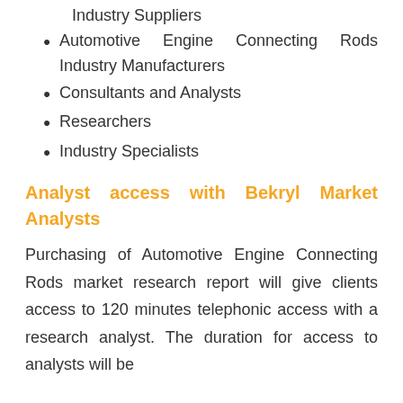Industry Suppliers
Automotive Engine Connecting Rods Industry Manufacturers
Consultants and Analysts
Researchers
Industry Specialists
Analyst access with Bekryl Market Analysts
Purchasing of Automotive Engine Connecting Rods market research report will give clients access to 120 minutes telephonic access with a research analyst. The duration for access to analysts will be